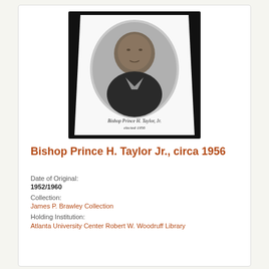[Figure (photo): Black and white oval portrait photograph of Bishop Prince H. Taylor Jr., mounted on a white card with a trapezoidal shape, set against a black background. A handwritten caption below the oval reads 'Bishop Prince H. Taylor, Jr. elected 1956'.]
Bishop Prince H. Taylor Jr., circa 1956
Date of Original:
1952/1960
Collection:
James P. Brawley Collection
Holding Institution:
Atlanta University Center Robert W. Woodruff Library